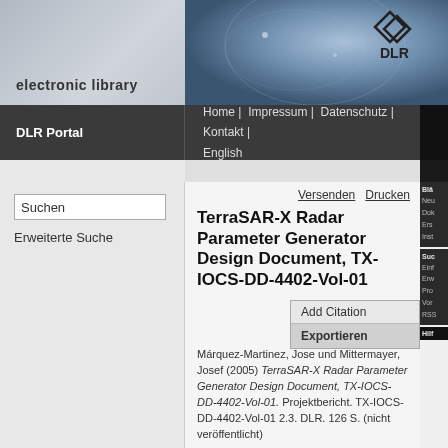[Figure (screenshot): DLR electronic library website header with logo and navigation]
electronic library
DLR Portal | Home | Impressum | Datenschutz | Kontakt | English
Suchen
Erweiterte Suche
Versenden   Drucken
TerraSAR-X Radar Parameter Generator Design Document, TX-IOCS-DD-4402-Vol-01
Exportieren
Márquez-Martinez, Jose und Mittermayer, Josef (2005) TerraSAR-X Radar Parameter Generator Design Document, TX-IOCS-DD-4402-Vol-01. Projektbericht. TX-IOCS-DD-4402-Vol-01 2.3. DLR. 126 S. (nicht veröffentlicht)
Dieses Archiv kann nicht den Volltext zur Verfügung stellen.
Kurzfassung
This document in combination with the IDL